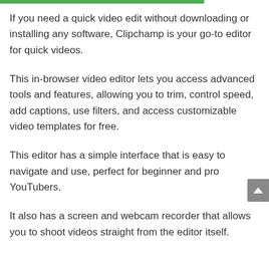If you need a quick video edit without downloading or installing any software, Clipchamp is your go-to editor for quick videos.
This in-browser video editor lets you access advanced tools and features, allowing you to trim, control speed, add captions, use filters, and access customizable video templates for free.
This editor has a simple interface that is easy to navigate and use, perfect for beginner and pro YouTubers.
It also has a screen and webcam recorder that allows you to shoot videos straight from the editor itself.